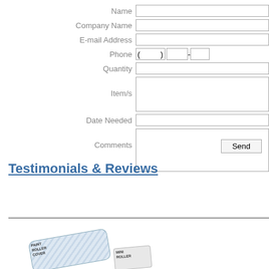| Label | Field |
| --- | --- |
| Name |  |
| Company Name |  |
| E-mail Address |  |
| Phone | ( ) - |
| Quantity |  |
| Item/s |  |
| Date Needed |  |
| Comments |  |
Send
Testimonials & Reviews
[Figure (photo): Product image showing paint rollers and related items]